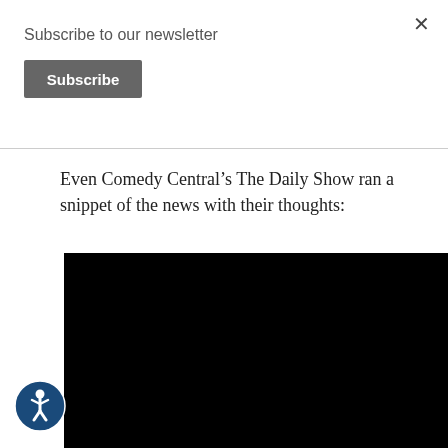Subscribe to our newsletter
Subscribe
Even Comedy Central’s The Daily Show ran a snippet of the news with their thoughts:
[Figure (other): Black video embed block]
[Figure (illustration): Accessibility icon: blue circle with white human figure (wheelchair accessibility symbol)]